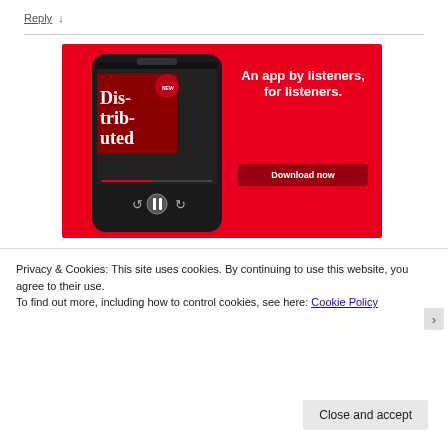Reply ↓
[Figure (illustration): Red advertisement banner for a podcast app showing a smartphone with 'Distributed' podcast playing. Text reads: 'An app by listeners, for listeners.' with a 'Download now' button.]
Privacy & Cookies: This site uses cookies. By continuing to use this website, you agree to their use.
To find out more, including how to control cookies, see here: Cookie Policy
Close and accept